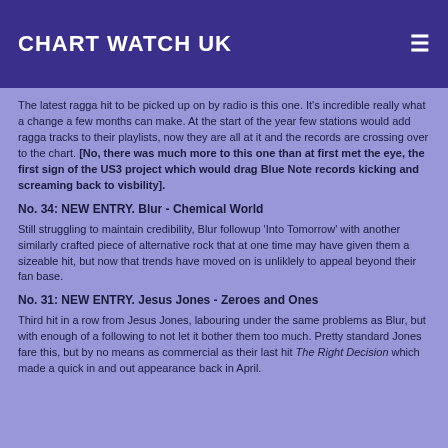CHART WATCH UK
The latest ragga hit to be picked up on by radio is this one. It's incredible really what a change a few months can make. At the start of the year few stations would add ragga tracks to their playlists, now they are all at it and the records are crossing over to the chart. [No, there was much more to this one than at first met the eye, the first sign of the US3 project which would drag Blue Note records kicking and screaming back to visbility].
No. 34: NEW ENTRY. Blur - Chemical World
Still struggling to maintain credibility, Blur followup 'Into Tomorrow' with another similarly crafted piece of alternative rock that at one time may have given them a sizeable hit, but now that trends have moved on is unliklely to appeal beyond their fan base.
No. 31: NEW ENTRY. Jesus Jones - Zeroes and Ones
Third hit in a row from Jesus Jones, labouring under the same problems as Blur, but with enough of a following to not let it bother them too much. Pretty standard Jones fare this, but by no means as commercial as their last hit The Right Decision which made a quick in and out appearance back in April.